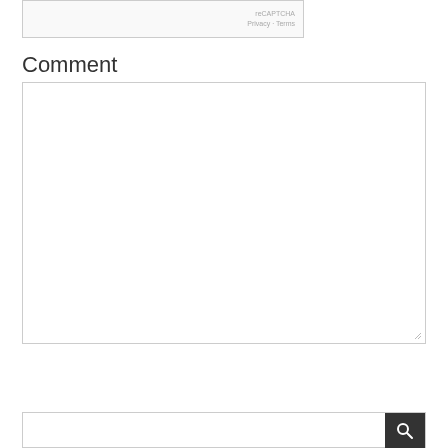[Figure (screenshot): reCAPTCHA widget partial view showing 'reCAPTCHA' and 'Privacy - Terms' text]
Comment
[Figure (screenshot): Empty comment textarea input box with resize handle in bottom-right corner]
[Figure (screenshot): POST COMMENT button (dark background, white uppercase text) and an upward chevron arrow on the right]
[Figure (screenshot): Search bar at bottom with text input and dark search icon button on the right]